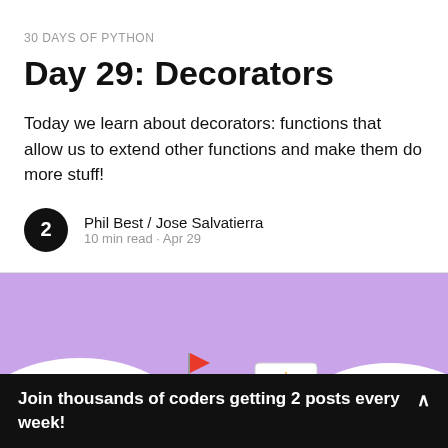30 DAYS OF PYTHON
Day 29: Decorators
Today we learn about decorators: functions that allow us to extend other functions and make them do more stuff!
Phil Best / Jose Salvatierra
10 min read · Apr 29
[Figure (illustration): Purple illustrated scene with rolling white hills, a character holding a red flag, and a screen/monitor with a gold star, on a purple background.]
Join thousands of coders getting 2 posts every week!